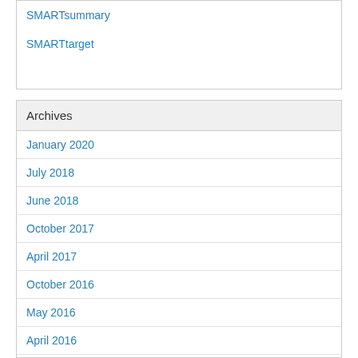SMARTsummary
SMARTtarget
Archives
January 2020
July 2018
June 2018
October 2017
April 2017
October 2016
May 2016
April 2016